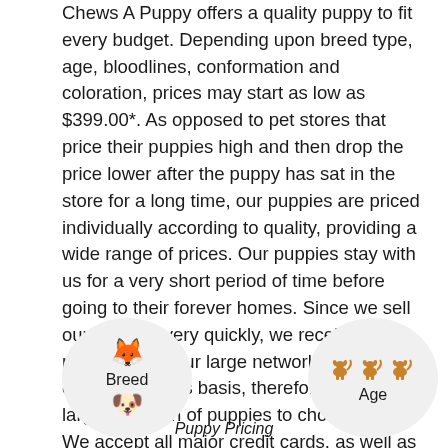Chews A Puppy offers a quality puppy to fit every budget. Depending upon breed type, age, bloodlines, conformation and coloration, prices may start as low as $399.00*. As opposed to pet stores that price their puppies high and then drop the price lower after the puppy has sat in the store for a long time, our puppies are priced individually according to quality, providing a wide range of prices. Our puppies stay with us for a very short period of time before going to their forever homes. Since we sell our puppies very quickly, we receive new puppies from our large network of breeders on a continuous basis, therefore offering a large selection of puppies to choose from. We accept all major credit cards, as well as cash and personal checks. In addition, we offer financing.
[Figure (illustration): Two circular icons at bottom: left circle shows a Shiba Inu dog emoji above text 'Breed' and a bulldog emoji below; right circle shows three small orange dog silhouettes above text 'Age'. Center bottom shows italic text 'Puppy Pricing'.]